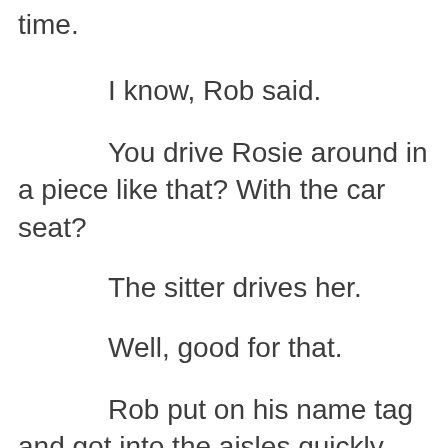time.
I know, Rob said.
You drive Rosie around in a piece like that? With the car seat?
The sitter drives her.
Well, good for that.
Rob put on his name tag and got into the aisles quickly, avoiding his boss and anyone else at the store. Wearing the plastic name tag every day was like walking around with a wad of gum in his hair. With a piece of